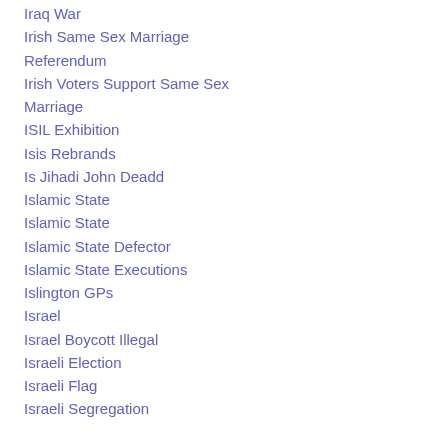Iraq War
Irish Same Sex Marriage Referendum
Irish Voters Support Same Sex Marriage
ISIL Exhibition
Isis Rebrands
Is Jihadi John Deadd
Islamic State
Islamic State
Islamic State Defector
Islamic State Executions
Islington GPs
Israel
Israel Boycott Illegal
Israeli Election
Israeli Flag
Israeli Segregation